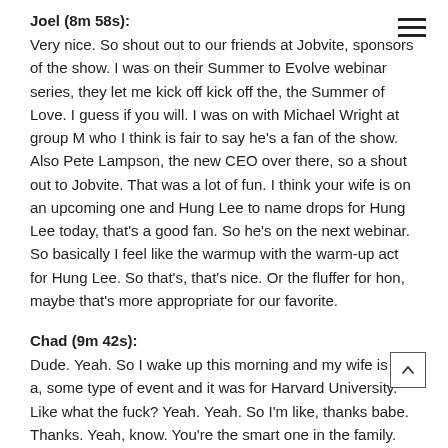Joel (8m 58s):
Very nice. So shout out to our friends at Jobvite, sponsors of the show. I was on their Summer to Evolve webinar series, they let me kick off kick off the, the Summer of Love. I guess if you will. I was on with Michael Wright at group M who I think is fair to say he's a fan of the show. Also Pete Lampson, the new CEO over there, so a shout out to Jobvite. That was a lot of fun. I think your wife is on an upcoming one and Hung Lee to name drops for Hung Lee today, that's a good fan. So he's on the next webinar. So basically I feel like the warmup with the warm-up act for Hung Lee. So that's, that's nice. Or the fluffer for hon, maybe that's more appropriate for our favorite.
Chad (9m 42s):
Dude. Yeah. So I wake up this morning and my wife is on a, some type of event and it was for Harvard University. Like what the fuck? Yeah. Yeah. So I'm like, thanks babe. Thanks. Yeah, know. You're the smart one in the family.